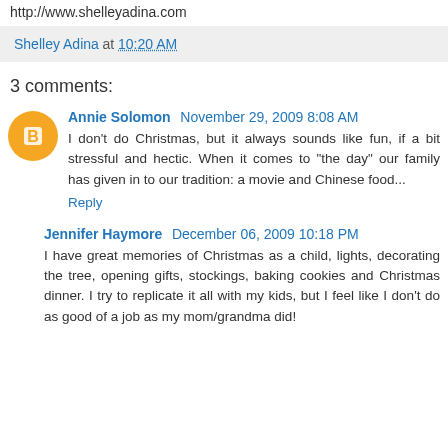http://www.shelleyadina.com
Shelley Adina at 10:20 AM
3 comments:
Annie Solomon November 29, 2009 8:08 AM
I don't do Christmas, but it always sounds like fun, if a bit stressful and hectic. When it comes to "the day" our family has given in to our tradition: a movie and Chinese food...
Reply
Jennifer Haymore December 06, 2009 10:18 PM
I have great memories of Christmas as a child, lights, decorating the tree, opening gifts, stockings, baking cookies and Christmas dinner. I try to replicate it all with my kids, but I feel like I don't do as good of a job as my mom/grandma did!